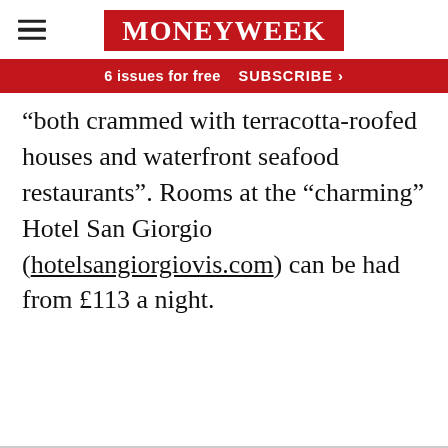MoneyWeek
6 issues for free   SUBSCRIBE >
“both crammed with terracotta-roofed houses and waterfront seafood restaurants”. Rooms at the “charming” Hotel San Giorgio (hotelsangiorgiovis.com) can be had from £113 a night.